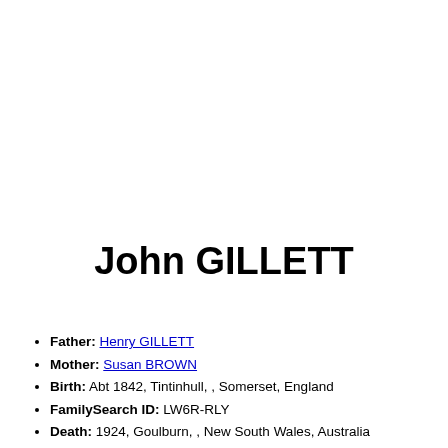John GILLETT
Father: Henry GILLETT
Mother: Susan BROWN
Birth: Abt 1842, Tintinhull, , Somerset, England
FamilySearch ID: LW6R-RLY
Death: 1924, Goulburn, , New South Wales, Australia